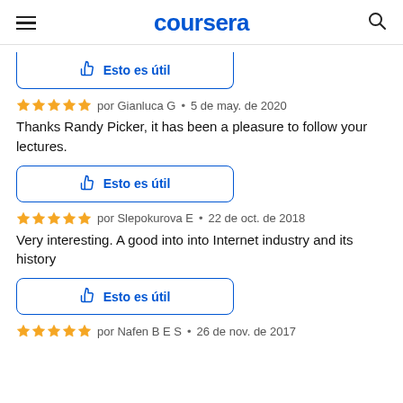coursera
Esto es útil (button, partial/cut off at top)
por Gianluca G • 5 de may. de 2020
Thanks Randy Picker, it has been a pleasure to follow your lectures.
Esto es útil (button)
por Slepokurova E • 22 de oct. de 2018
Very interesting. A good into into Internet industry and its history
Esto es útil (button)
por Nafen B E S • 26 de nov. de 2017 (partial)